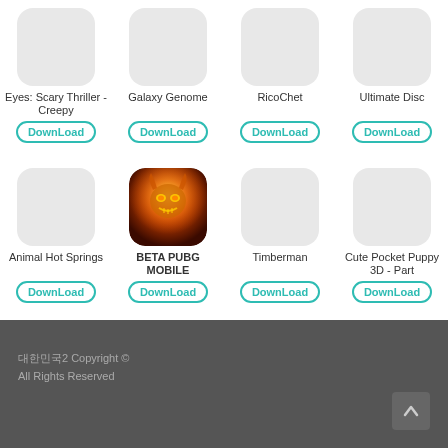[Figure (screenshot): Grid of 8 app icons with download buttons. Row 1: Eyes: Scary Thriller - Creepy, Galaxy Genome, RicoChet, Ultimate Disc. Row 2: Animal Hot Springs, BETA PUBG MOBILE (with actual icon), Timberman, Cute Pocket Puppy 3D - Part.]
대한민국2 Copyright © All Rights Reserved